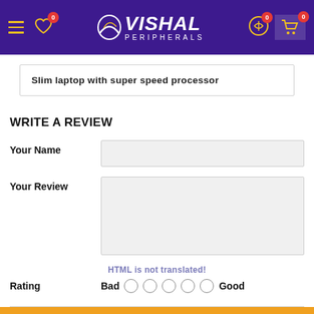Vishal Peripherals - header navigation
Slim laptop with super speed processor
WRITE A REVIEW
Your Name
Your Review
HTML is not translated!
Rating  Bad  Good